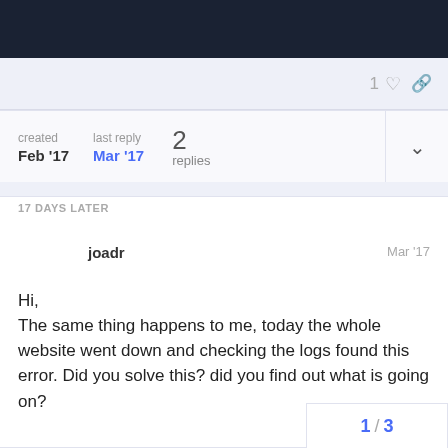1 ♡ 🔗
| created | last reply | 2 replies |
| --- | --- | --- |
| Feb '17 | Mar '17 |  |
17 DAYS LATER
joadr   Mar '17
Hi,
The same thing happens to me, today the whole website went down and checking the logs found this error. Did you solve this? did you find out what is going on?
1 / 3